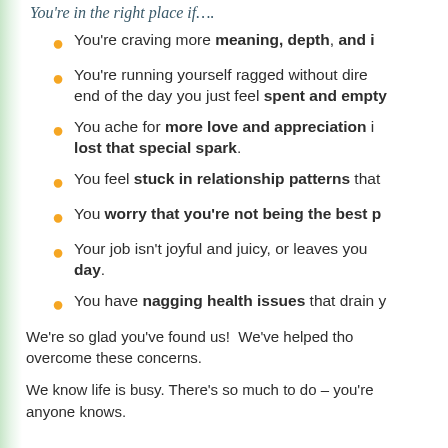You're in the right place if….
You're craving more meaning, depth, and i…
You're running yourself ragged without dire… end of the day you just feel spent and empty.
You ache for more love and appreciation i… lost that special spark.
You feel stuck in relationship patterns that…
You worry that you're not being the best p…
Your job isn't joyful and juicy, or leaves you … day.
You have nagging health issues that drain y…
We're so glad you've found us! We've helped tho… overcome these concerns.
We know life is busy. There's so much to do – you're … anyone knows.